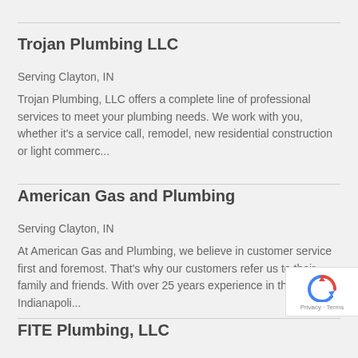Trojan Plumbing LLC
Serving Clayton, IN
Trojan Plumbing, LLC offers a complete line of professional services to meet your plumbing needs. We work with you, whether it's a service call, remodel, new residential construction or light commerc...
American Gas and Plumbing
Serving Clayton, IN
At American Gas and Plumbing, we believe in customer service first and foremost. That's why our customers refer us to their family and friends. With over 25 years experience in the Greater Indianapoli...
FITE Plumbing, LLC
Serving Clayton, IN
Welcome Fite Plumbing LLC with over 30 years of experience